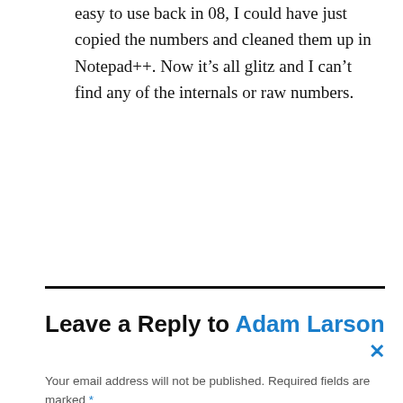easy to use back in 08, I could have just copied the numbers and cleaned them up in Notepad++. Now it’s all glitz and I can’t find any of the internals or raw numbers.
Reply
Leave a Reply to Adam Larson ×
Your email address will not be published. Required fields are marked *
COMMENT